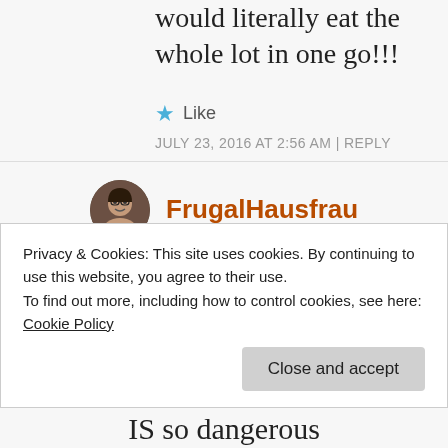would literally eat the whole lot in one go!!!
★ Like
JULY 23, 2016 AT 2:56 AM | REPLY
FrugalHausfrau
Elaine, I found
Privacy & Cookies: This site uses cookies. By continuing to use this website, you agree to their use.
To find out more, including how to control cookies, see here:
Cookie Policy
Close and accept
IS so dangerous